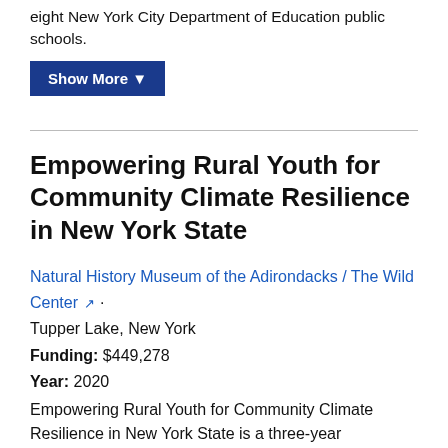eight New York City Department of Education public schools.
Show More ▼
Empowering Rural Youth for Community Climate Resilience in New York State
Natural History Museum of the Adirondacks / The Wild Center · Tupper Lake, New York
Funding: $449,278
Year: 2020
Empowering Rural Youth for Community Climate Resilience in New York State is a three-year